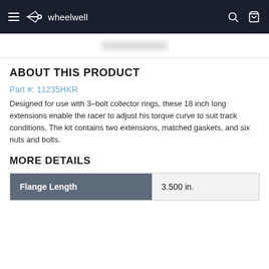wheelwell
ABOUT THIS PRODUCT
Part #: 11235HKR
Designed for use with 3–bolt collector rings, these 18 inch long extensions enable the racer to adjust his torque curve to suit track conditions. The kit contains two extensions, matched gaskets, and six nuts and bolts.
MORE DETAILS
| Flange Length |  |
| --- | --- |
| Flange Length | 3.500 in. |